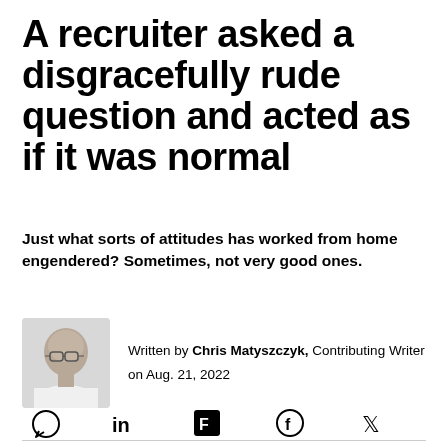A recruiter asked a disgracefully rude question and acted as if it was normal
Just what sorts of attitudes has worked from home engendered? Sometimes, not very good ones.
[Figure (photo): Headshot photo of author Chris Matyszczyk, a bald man with glasses wearing a white shirt]
Written by Chris Matyszczyk, Contributing Writer on Aug. 21, 2022
[Figure (infographic): Social sharing icons: comment bubble, LinkedIn, Flipboard, Facebook, Twitter]